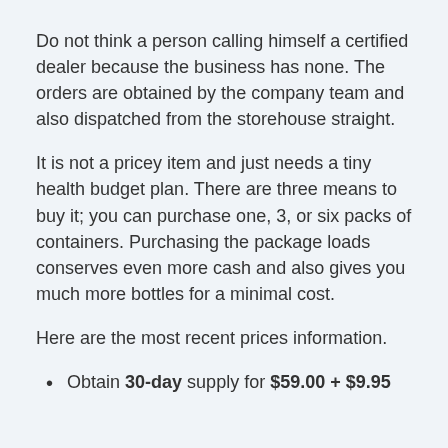Do not think a person calling himself a certified dealer because the business has none. The orders are obtained by the company team and also dispatched from the storehouse straight.
It is not a pricey item and just needs a tiny health budget plan. There are three means to buy it; you can purchase one, 3, or six packs of containers. Purchasing the package loads conserves even more cash and also gives you much more bottles for a minimal cost.
Here are the most recent prices information.
Obtain 30-day supply for $59.00 + $9.95